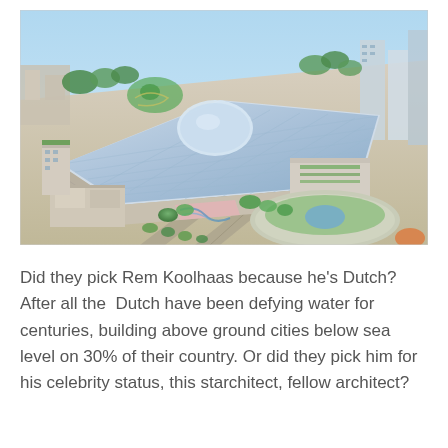[Figure (photo): Aerial rendering of a large urban development with a prominent futuristic curved building with a glass/grid roof in the center, surrounded by green trees, roads, and other modern buildings. The scene appears to be a mixed-use urban complex viewed from above at an angle.]
Did they pick Rem Koolhaas because he's Dutch? After all the  Dutch have been defying water for centuries, building above ground cities below sea level on 30% of their country. Or did they pick him for his celebrity status, this starchitect, fellow architect?